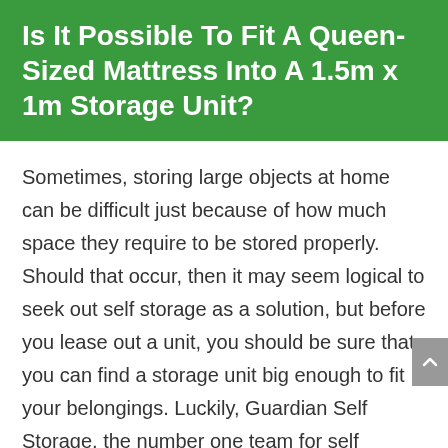Is It Possible To Fit A Queen-Sized Mattress Into A 1.5m x 1m Storage Unit?
Sometimes, storing large objects at home can be difficult just because of how much space they require to be stored properly. Should that occur, then it may seem logical to seek out self storage as a solution, but before you lease out a unit, you should be sure that you can find a storage unit big enough to fit your belongings. Luckily, Guardian Self Storage, the number one team for self storage in Blue Mountain